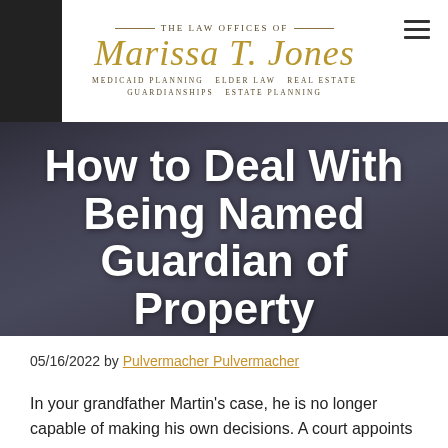[Figure (logo): The Law Offices of Marissa T. Jones logo with script lettering in gold, Medicaid Planning, Elder Law, Real Estate, Guardianships, Estate Planning tagline]
[Figure (photo): Dark background photo of people at a table appearing to review documents, used as hero image background]
How to Deal With Being Named Guardian of Property
05/16/2022 by Pulvermacher Pulvermacher
In your grandfather Martin's case, he is no longer capable of making his own decisions. A court appoints